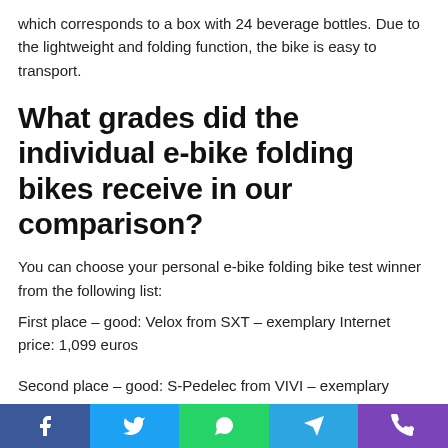which corresponds to a box with 24 beverage bottles. Due to the lightweight and folding function, the bike is easy to transport.
What grades did the individual e-bike folding bikes receive in our comparison?
You can choose your personal e-bike folding bike test winner from the following list:
First place – good: Velox from SXT – exemplary Internet price: 1,099 euros
Second place – good: S-Pedelec from VIVI – exemplary
Social share bar with Facebook, Twitter, WhatsApp, Telegram, Phone icons